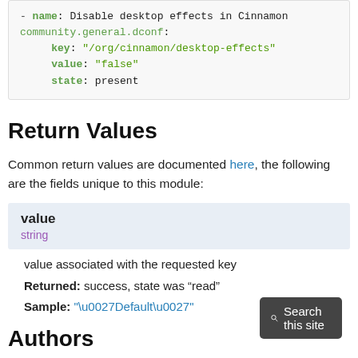- name: Disable desktop effects in Cinnamon
  community.general.dconf:
    key: "/org/cinnamon/desktop-effects"
    value: "false"
    state: present
Return Values
Common return values are documented here, the following are the fields unique to this module:
value
string
value associated with the requested key
Returned: success, state was “read”
Sample: "\u0027Default\u0027"
Authors
Search this site